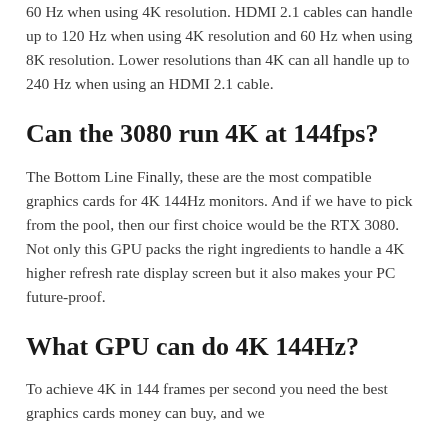60 Hz when using 4K resolution. HDMI 2.1 cables can handle up to 120 Hz when using 4K resolution and 60 Hz when using 8K resolution. Lower resolutions than 4K can all handle up to 240 Hz when using an HDMI 2.1 cable.
Can the 3080 run 4K at 144fps?
The Bottom Line Finally, these are the most compatible graphics cards for 4K 144Hz monitors. And if we have to pick from the pool, then our first choice would be the RTX 3080. Not only this GPU packs the right ingredients to handle a 4K higher refresh rate display screen but it also makes your PC future-proof.
What GPU can do 4K 144Hz?
To achieve 4K in 144 frames per second you need the best graphics cards money can buy, and we